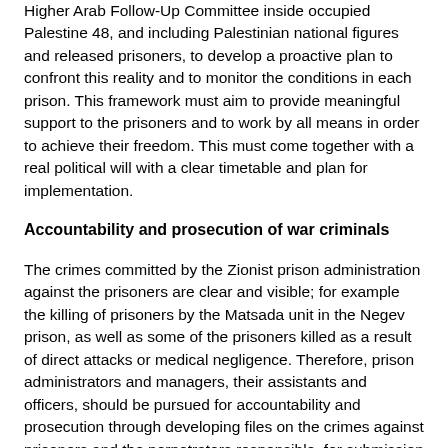Higher Arab Follow-Up Committee inside occupied Palestine 48, and including Palestinian national figures and released prisoners, to develop a proactive plan to confront this reality and to monitor the conditions in each prison. This framework must aim to provide meaningful support to the prisoners and to work by all means in order to achieve their freedom. This must come together with a real political will with a clear timetable and plan for implementation.
Accountability and prosecution of war criminals
The crimes committed by the Zionist prison administration against the prisoners are clear and visible; for example the killing of prisoners by the Matsada unit in the Negev prison, as well as some of the prisoners killed as a result of direct attacks or medical negligence. Therefore, prison administrators and managers, their assistants and officers, should be pursued for accountability and prosecution through developing files on the crimes against prisoners and the perpetrators responsible, for submission at international courts. This is an important task for Palestinians, with the participation of international supporters, especially in the legal field. These criminals, as well as intelligence officers, are free to roam about the world at present with